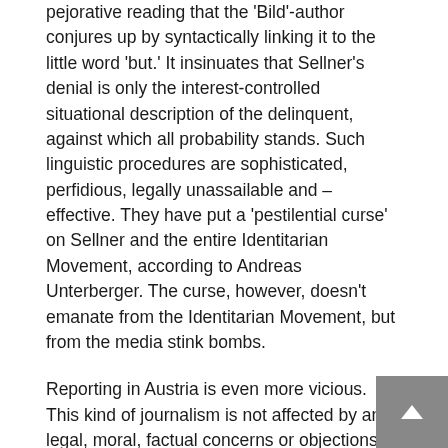pejorative reading that the 'Bild'-author conjures up by syntactically linking it to the little word 'but.' It insinuates that Sellner's denial is only the interest-controlled situational description of the delinquent, against which all probability stands. Such linguistic procedures are sophisticated, perfidious, legally unassailable and – effective. They have put a 'pestilential curse' on Sellner and the entire Identitarian Movement, according to Andreas Unterberger. The curse, however, doesn't emanate from the Identitarian Movement, but from the media stink bombs.
Reporting in Austria is even more vicious. This kind of journalism is not affected by any legal, moral, factual concerns or objections. Those who run it do not want to get to the bottom of things nor do they want to do justice. They want to destroy their opponents socially and morally, nothing more. Even Sellner's long-settled and regretted political aberrations as a juvenile were illegally dragged into the public eye.